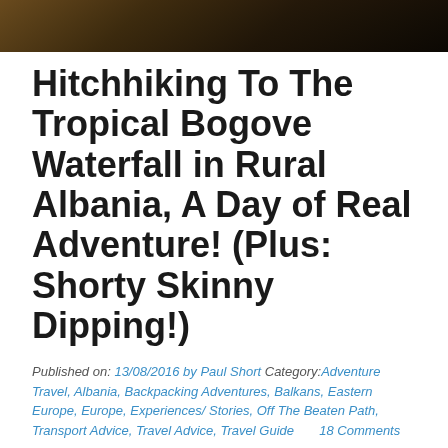[Figure (photo): Dark background image at top of page, appears to be a nature/outdoor scene]
Hitchhiking To The Tropical Bogove Waterfall in Rural Albania, A Day of Real Adventure! (Plus: Shorty Skinny Dipping!)
Published on: 13/08/2016 by Paul Short Category:Adventure Travel, Albania, Backpacking Adventures, Balkans, Eastern Europe, Europe, Experiences/ Stories, Off The Beaten Path, Transport Advice, Travel Advice, Travel Guide      18 Comments
[Figure (infographic): Social media sharing buttons: Facebook, Twitter, Pinterest, Mix, Flipboard, WhatsApp, Reddit, and a plus/more button — all in green circular icons]